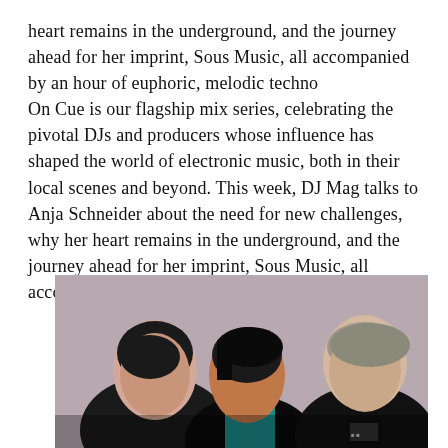heart remains in the underground, and the journey ahead for her imprint, Sous Music, all accompanied by an hour of euphoric, melodic techno On Cue is our flagship mix series, celebrating the pivotal DJs and producers whose influence has shaped the world of electronic music, both in their local scenes and beyond. This week, DJ Mag talks to Anja Schneider about the need for new challenges, why her heart remains in the underground, and the journey ahead for her imprint, Sous Music, all accompanied by an hour of euphoric, melodic techno
[Figure (photo): Photo of three people (two men and one person in the center) wearing dark clothing against a light background, posed closely together looking at the camera.]